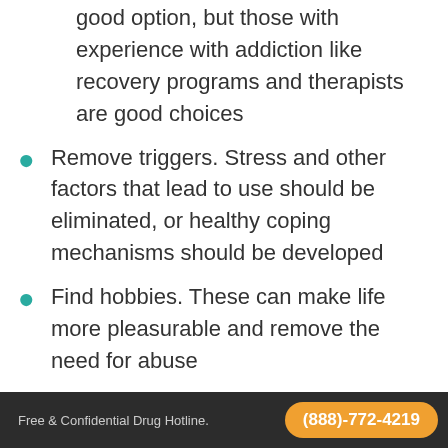good option, but those with experience with addiction like recovery programs and therapists are good choices
Remove triggers. Stress and other factors that lead to use should be eliminated, or healthy coping mechanisms should be developed
Find hobbies. These can make life more pleasurable and remove the need for abuse
Amphetamine Withdrawal Timeline
Table of Contents
rough pattern known as the withdrawal timeline